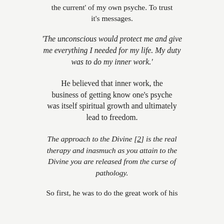the current' of my own psyche. To trust it's messages.
'The unconscious would protect me and give me everything I needed for my life. My duty was to do my inner work.'
He believed that inner work, the business of getting know one's psyche was itself spiritual growth and ultimately lead to freedom.
The approach to the Divine [2] is the real therapy and inasmuch as you attain to the Divine you are released from the curse of pathology.
So first, he was to do the great work of his